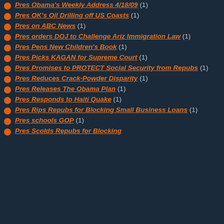Pres Obama's Weekly Address 4/18/09 (1)
Pres OK's Oil Drilling off US Coasts (1)
Pres on ABC News (1)
Pres orders DOJ to Challenge Ariz Immigration Law (1)
Pres Pens New Children's Book (1)
Pres Picks KAGAN for Supreme Court (1)
Pres Promises to PROTECT Social Security from Repubs (1)
Pres Reduces Crack-Powder Disparity (1)
Pres Releases The Obama Plan (1)
Pres Responds to Haiti Quake (1)
Pres Rips Repubs for Blocking Small Business Loans (1)
Pres schools GOP (1)
Pres Scolds Repubs for Blocking